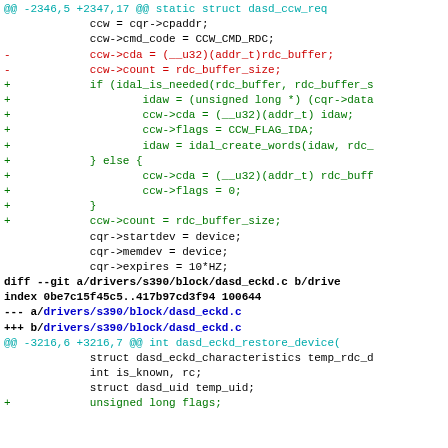Unified diff / patch code showing changes to dasd_ccw_req and dasd_eckd.c files
Code diff with added/removed lines highlighted in green/red, context lines in black, and diff headers in blue/cyan/bold